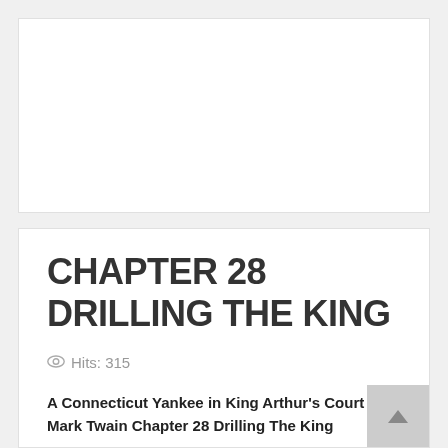[Figure (other): White card/panel area at the top, blank content area]
CHAPTER 28 DRILLING THE KING
Hits: 315
A Connecticut Yankee in King Arthur's Court by Mark Twain Chapter 28 Drilling The King